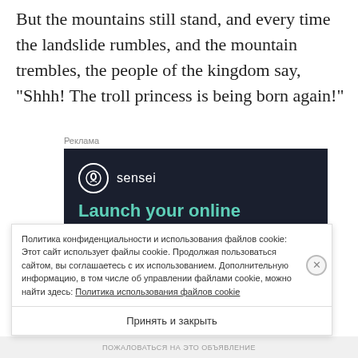But the mountains still stand, and every time the landslide rumbles, and the mountain trembles, the people of the kingdom say, “Shhh! The troll princess is being born again!”
[Figure (other): Advertisement for Sensei plugin: dark background with Sensei logo and text 'Launch your online course with WordPress']
Политика конфиденциальности и использования файлов cookie: Этот сайт использует файлы cookie. Продолжая пользоваться сайтом, вы соглашаетесь с их использованием. Дополнительную информацию, в том числе об управлении файлами cookie, можно найти здесь: Политика использования файлов cookie
Принять и закрыть
ПОЖАЛОВАТЬСЯ НА САЙТ ТЕМЫ